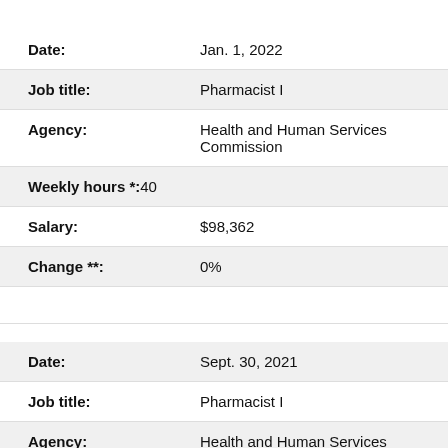| Field | Value |
| --- | --- |
| Date: | Jan. 1, 2022 |
| Job title: | Pharmacist I |
| Agency: | Health and Human Services Commission |
| Weekly hours *: | 40 |
| Salary: | $98,362 |
| Change **: | 0% |
| Field | Value |
| --- | --- |
| Date: | Sept. 30, 2021 |
| Job title: | Pharmacist I |
| Agency: | Health and Human Services |